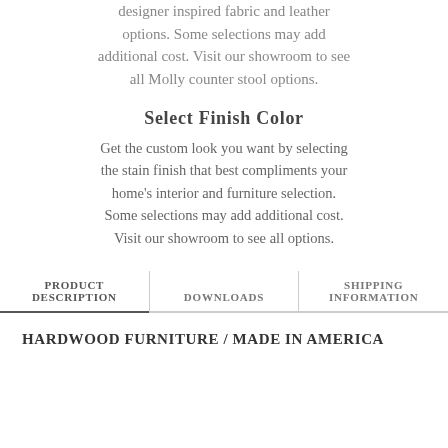designer inspired fabric and leather options. Some selections may add additional cost. Visit our showroom to see all Molly counter stool options.
Select Finish Color
Get the custom look you want by selecting the stain finish that best compliments your home's interior and furniture selection. Some selections may add additional cost. Visit our showroom to see all options.
PRODUCT DESCRIPTION
DOWNLOADS
SHIPPING INFORMATION
HARDWOOD FURNITURE / MADE IN AMERICA